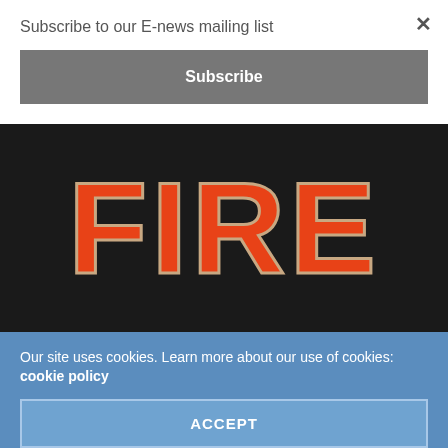Subscribe to our E-news mailing list
Subscribe
[Figure (logo): FIRE logo in bold orange/red letters on black background]
Asia Pacific Fire is the only quarterly journal for the Asia Pacific Fire protection, fire service and emergency management communities. Asia Pacific Fire is dedicated to keeping our readers up to date with current research, new and innovative equipment, techniques and training
Our site uses cookies. Learn more about our use of cookies: cookie policy
ACCEPT